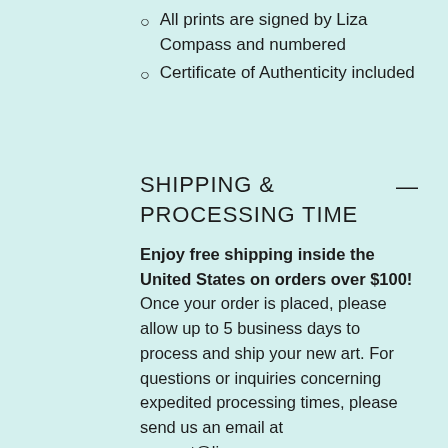All prints are signed by Liza Compass and numbered
Certificate of Authenticity included
SHIPPING & PROCESSING TIME
Enjoy free shipping inside the United States on orders over $100! Once your order is placed, please allow up to 5 business days to process and ship your new art. For questions or inquiries concerning expedited processing times, please send us an email at support@lizacompass.com